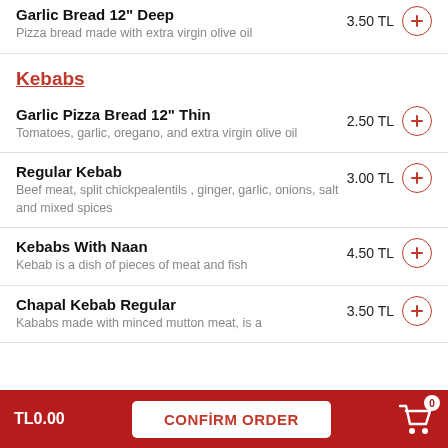Garlic Bread 12" Deep — Pizza bread made with extra virgin olive oil — 3.50 TL
Kebabs
Garlic Pizza Bread 12" Thin — Tomatoes, garlic, oregano, and extra virgin olive oil — 2.50 TL
Regular Kebab — Beef meat, split chickpealentils , ginger, garlic, onions, salt and mixed spices — 3.00 TL
Kebabs With Naan — Kebab is a dish of pieces of meat and fish — 4.50 TL
Chapal Kebab Regular — Kababs made with minced mutton meat, is a — 3.50 TL
TL0.00   CONFIRM ORDER   0